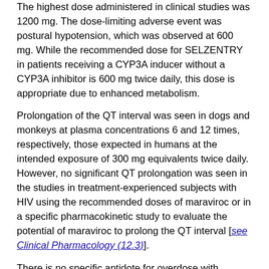The highest dose administered in clinical studies was 1200 mg. The dose-limiting adverse event was postural hypotension, which was observed at 600 mg. While the recommended dose for SELZENTRY in patients receiving a CYP3A inducer without a CYP3A inhibitor is 600 mg twice daily, this dose is appropriate due to enhanced metabolism.
Prolongation of the QT interval was seen in dogs and monkeys at plasma concentrations 6 and 12 times, respectively, those expected in humans at the intended exposure of 300 mg equivalents twice daily. However, no significant QT prolongation was seen in the studies in treatment-experienced subjects with HIV using the recommended doses of maraviroc or in a specific pharmacokinetic study to evaluate the potential of maraviroc to prolong the QT interval [see Clinical Pharmacology (12.3)].
There is no specific antidote for overdose with maraviroc. Treatment of overdose should consist of general supportive measures including keeping the patient in a supine position, careful assessment of patient vital signs, blood pressure and ECG.
If indicated, elimination of unabsorbed active maraviroc should be achieved by emesis or gastric lavage. Administration of activated charcoal may also be used to aid in removal of unabsorbed drug. Since maraviroc is moderately protein-bound,